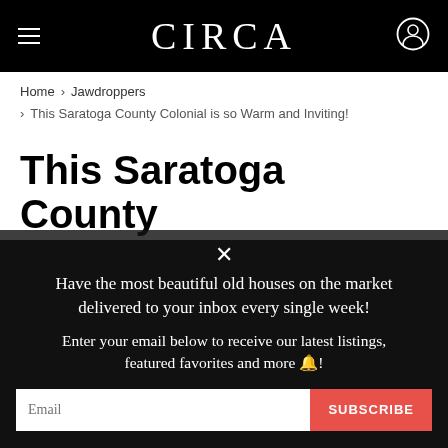CIRCA
Home > Jawdroppers > This Saratoga County Colonial is so Warm and Inviting!
This Saratoga County Colonial is so Warm and
Have the most beautiful old houses on the market delivered to your inbox every single week!

Enter your email below to receive our latest listings, featured favorites and more 🔔!
Email  SUBSCRIBE